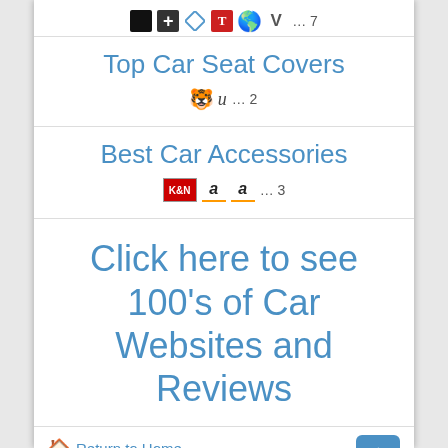[Figure (other): Row of brand/website favicon icons with '... 7' count]
Top Car Seat Covers
[Figure (other): Row of two favicon icons with '... 2' count]
Best Car Accessories
[Figure (other): Row of K&N and two Amazon favicon icons with '... 3' count]
Click here to see 100's of Car Websites and Reviews
🏠 Return to Home
© 2022 MrCarGeek - Reviewing the Best Car Sites